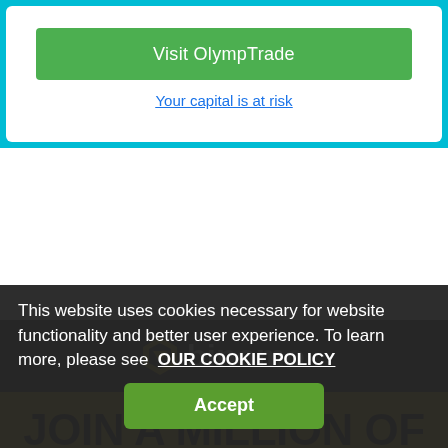[Figure (screenshot): Green 'Visit OlympTrade' button inside a white card with cyan border]
Visit OlympTrade
Your capital is at risk
[Figure (screenshot): Binomo trading platform advertisement banner with dark header showing Binomo logo and yellow background with bold text 'JOIN A MILLION OF THE BEST TRADERS' and 'INVEST IN YOUR SUCCESS']
JOIN A MILLION OF THE BEST TRADERS
INVEST IN YOUR SUCCESS
This website uses cookies necessary for website functionality and better user experience. To learn more, please see  OUR COOKIE POLICY
Accept